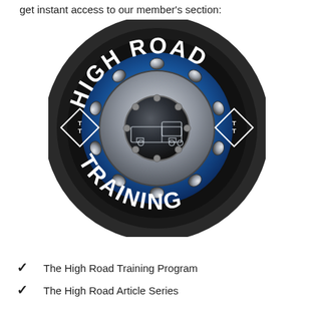get instant access to our member's section:
[Figure (logo): High Road Training logo — a truck wheel/tire design with 'HIGH ROAD' text across the top and 'TRAINING' across the bottom in white bold letters on a dark circular background, with a blue metallic hub center and 'TT' diamond emblems on the sides.]
The High Road Training Program
The High Road Article Series